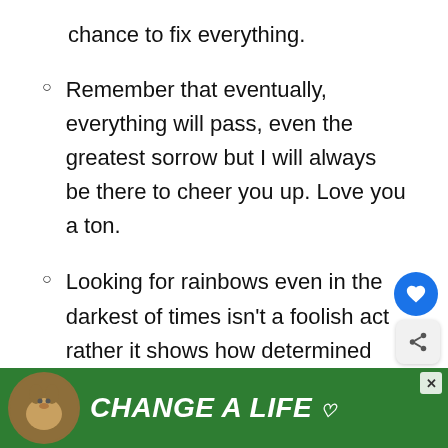chance to fix everything.
Remember that eventually, everything will pass, even the greatest sorrow but I will always be there to cheer you up. Love you a ton.
Looking for rainbows even in the darkest of times isn't a foolish act rather it shows how determined you are to fight for your well-being.
[Figure (screenshot): UI overlay elements: heart/favorite button (blue circle), share button, and a 'WHAT'S NEXT' card showing '119+ Cool and Amazing...']
[Figure (photo): Advertisement banner with green background showing a dog image and bold italic white text 'CHANGE A LIFE' with a close button (X)]